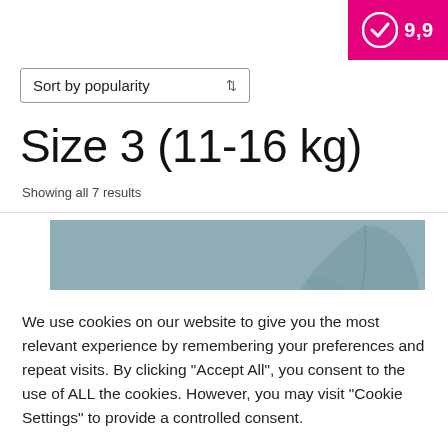[Figure (logo): Pink square badge with a white checkmark circle icon and score 9.9 in white text]
Sort by popularity ⬍
Size 3 (11-16 kg)
Showing all 7 results
[Figure (photo): Blue-gray product image with a leaf/plant silhouette on the right side]
We use cookies on our website to give you the most relevant experience by remembering your preferences and repeat visits. By clicking "Accept All", you consent to the use of ALL the cookies. However, you may visit "Cookie Settings" to provide a controlled consent.
Cookie Settings   Accept All